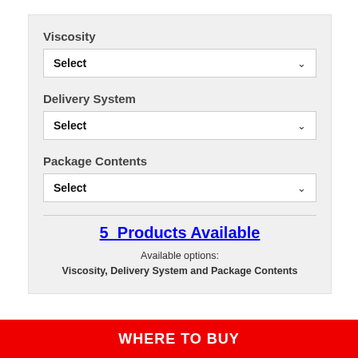Viscosity
Select
Delivery System
Select
Package Contents
Select
5 Products Available
Available options:
Viscosity, Delivery System and Package Contents
WHERE TO BUY